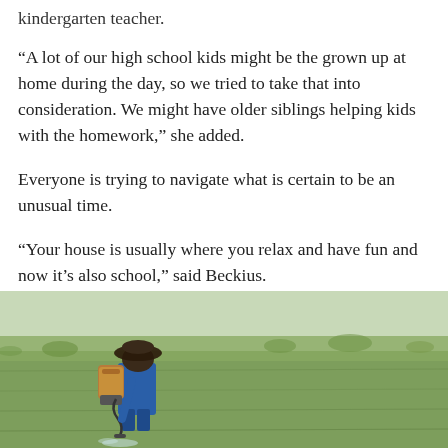kindergarten teacher.
“A lot of our high school kids might be the grown up at home during the day, so we tried to take that into consideration. We might have older siblings helping kids with the homework,” she added.
Everyone is trying to navigate what is certain to be an unusual time.
“Your house is usually where you relax and have fun and now it’s also school,” said Beckius.
Taboola Feed
[Figure (photo): A farmer wearing a hat and face mask sprays pesticide from a backpack sprayer in a green rice field.]